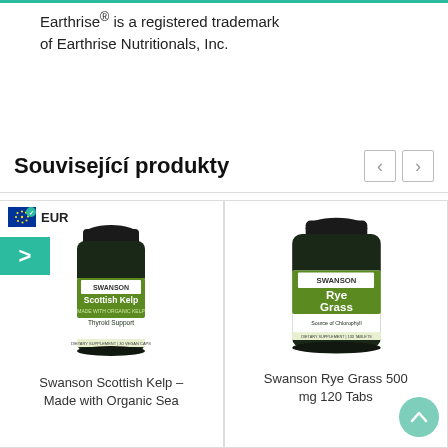Earthrise® is a registered trademark of Earthrise Nutritionals, Inc.
Související produkty
[Figure (photo): Swanson Scottish Kelp supplement bottle with green label, Thyroid Support, Made with Organic Sea]
Swanson Scottish Kelp – Made with Organic Sea
[Figure (photo): Swanson Rye Grass 500 mg supplement bottle with green label, Source of Chlorophyll, 120 Tabs]
Swanson Rye Grass 500 mg 120 Tabs